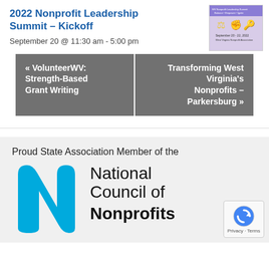2022 Nonprofit Leadership Summit – Kickoff
September 20 @ 11:30 am - 5:00 pm
[Figure (illustration): Event graphic for WV Nonprofit Leadership Summit, September 20-22, 2022, showing icons for balance, strength, and spirit]
« VolunteerWV: Strength-Based Grant Writing
Transforming West Virginia's Nonprofits – Parkersburg »
Proud State Association Member of the
[Figure (logo): National Council of Nonprofits logo with blue stylized N and text National Council of Nonprofits]
[Figure (other): reCAPTCHA badge with Privacy and Terms links]